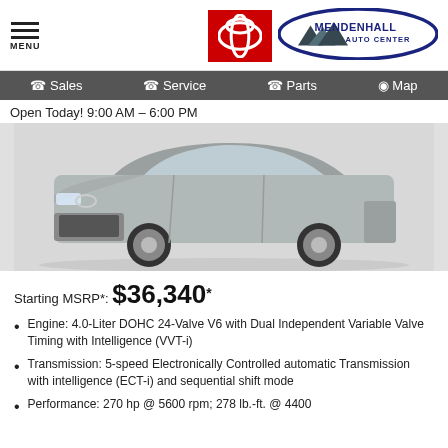MENU | Toyota | Mendenhall Auto Center
Sales | Service | Parts | Map
Open Today! 9:00 AM - 6:00 PM
[Figure (photo): Silver Toyota 4Runner SUV side/front view on white background]
Starting MSRP*: $36,340*
Engine: 4.0-Liter DOHC 24-Valve V6 with Dual Independent Variable Valve Timing with Intelligence (VVT-i)
Transmission: 5-speed Electronically Controlled automatic Transmission with intelligence (ECT-i) and sequential shift mode
Performance: 270 hp @ 5600 rpm; 278 lb.-ft. @ 4400